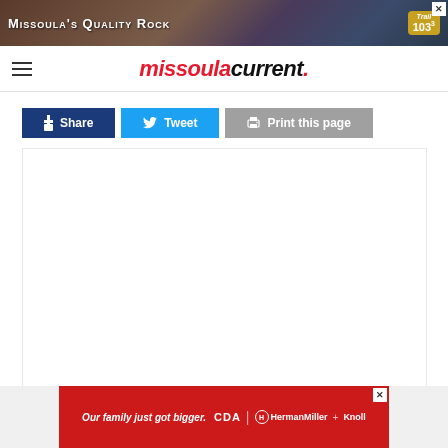[Figure (other): Top advertisement banner for Missoula's Quality Rock and Trail 103.3 radio station, with close button]
missoulacurrent.
[Figure (other): Share, Tweet, and Print this page social action buttons]
[Figure (other): White content area placeholder]
[Figure (other): Bottom advertisement banner: Our family just got bigger. CBA | HermanMiller + Knoll]